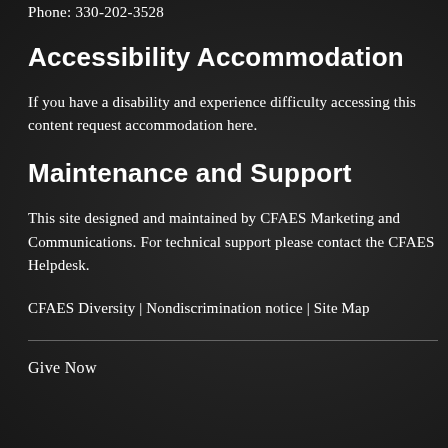Phone: 330-202-3528
Accessibility Accommodation
If you have a disability and experience difficulty accessing this content request accommodation here.
Maintenance and Support
This site designed and maintained by CFAES Marketing and Communications. For technical support please contact the CFAES Helpdesk.
CFAES Diversity | Nondiscrimination notice | Site Map
Give Now